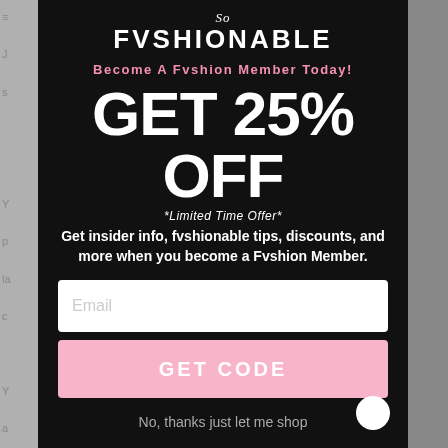[Figure (screenshot): So Fvshionable brand logo with stylized script 'So' and bold 'FVSHIONABLE' text in white on black background]
Become A Fvshion Member Today!
GET 25% OFF
*Limited Time Offer*
Get insider info, fvshionable tips, discounts, and more when you become a Fvshion Member.
Email
GET CODE
No, thanks just let me shop